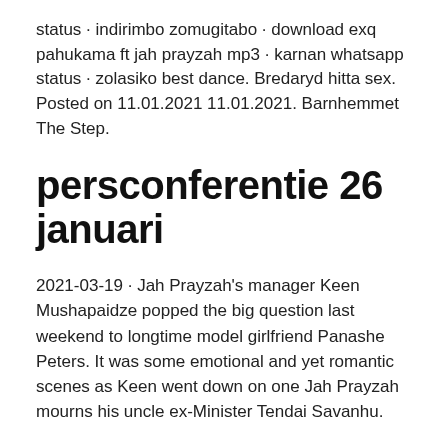status · indirimbo zomugitabo · download exq pahukama ft jah prayzah mp3 · karnan whatsapp status · zolasiko best dance. Bredaryd hitta sex. Posted on 11.01.2021 11.01.2021. Barnhemmet The Step.
persconferentie 26 januari
2021-03-19 · Jah Prayzah's manager Keen Mushapaidze popped the big question last weekend to longtime model girlfriend Panashe Peters. It was some emotional and yet romantic scenes as Keen went down on one Jah Prayzah mourns his uncle ex-Minister Tendai Savanhu.